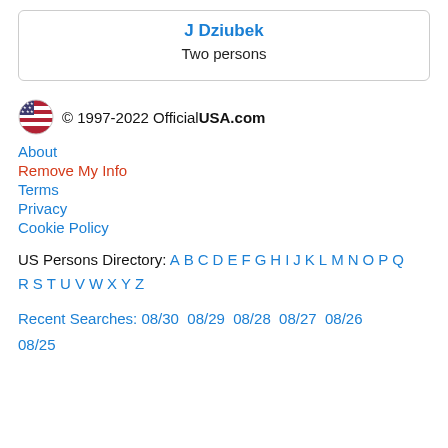J Dziubek
Two persons
© 1997-2022 OfficialUSA.com
About
Remove My Info
Terms
Privacy
Cookie Policy
US Persons Directory: A B C D E F G H I J K L M N O P Q R S T U V W X Y Z
Recent Searches: 08/30  08/29  08/28  08/27  08/26  08/25